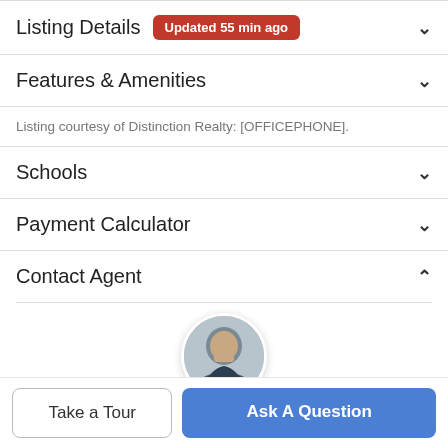Listing Details Updated 55 min ago
Features & Amenities
Listing courtesy of Distinction Realty: [OFFICEPHONE].
Schools
Payment Calculator
Contact Agent
[Figure (photo): Circular profile photo of a male real estate agent in a dark suit jacket, smiling, with a brick wall background]
Take a Tour
Ask A Question